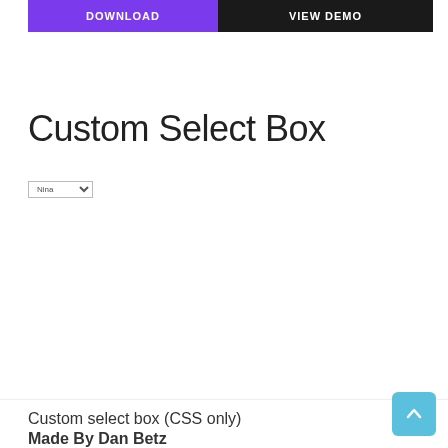[Figure (screenshot): Two buttons side by side: purple DOWNLOAD button and dark/black VIEW DEMO button]
Custom Select Box
[Figure (screenshot): A small native select/dropdown widget showing 'Nina']
Custom select box (CSS only)
Made By Dan Betz
[Figure (other): Light blue scroll-to-top button with upward caret arrow icon]